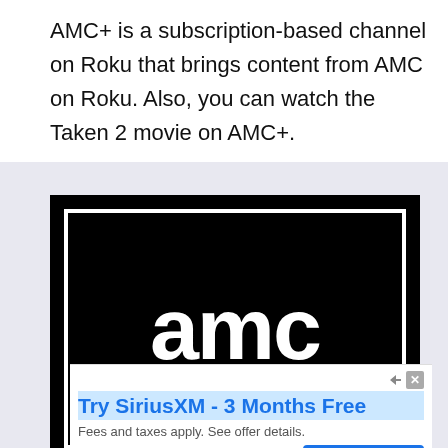AMC+ is a subscription-based channel on Roku that brings content from AMC on Roku. Also, you can watch the Taken 2 movie on AMC+.
[Figure (logo): AMC logo — white lowercase 'aMC' text on black background with white inner border frame]
[Figure (screenshot): SiriusXM advertisement banner: 'Try SiriusXM - 3 Months Free' with subtext 'Fees and taxes apply. See offer details.' and a Subscribe button]